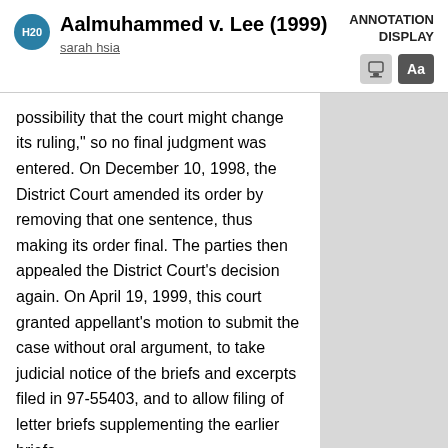Aalmuhammed v. Lee (1999)
sarah hsia
ANNOTATION DISPLAY
possibility that the court might change its ruling," so no final judgment was entered. On December 10, 1998, the District Court amended its order by removing that one sentence, thus making its order final. The parties then appealed the District Court's decision again. On April 19, 1999, this court granted appellant's motion to submit the case without oral argument, to take judicial notice of the briefs and excerpts filed in 97-55403, and to allow filing of letter briefs supplementing the earlier briefs.
6] [2] 17 U.S.C. §§ 101, 201(a)